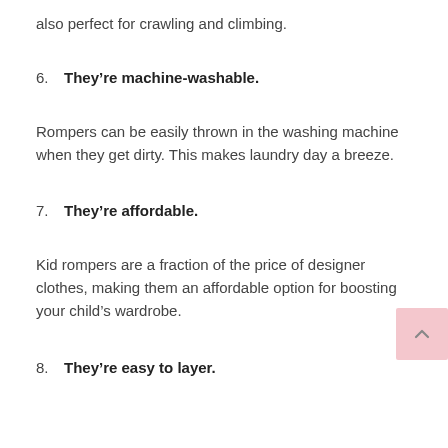also perfect for crawling and climbing.
6. They're machine-washable.
Rompers can be easily thrown in the washing machine when they get dirty. This makes laundry day a breeze.
7. They're affordable.
Kid rompers are a fraction of the price of designer clothes, making them an affordable option for boosting your child's wardrobe.
8. They're easy to layer.